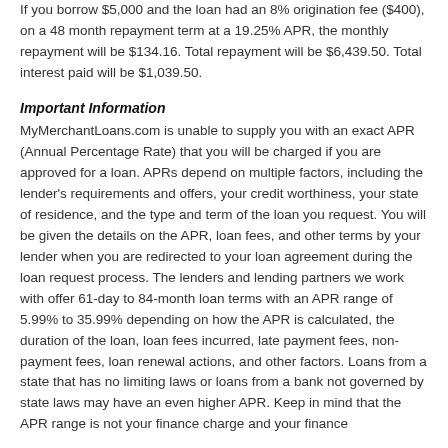If you borrow $5,000 and the loan had an 8% origination fee ($400), on a 48 month repayment term at a 19.25% APR, the monthly repayment will be $134.16. Total repayment will be $6,439.50. Total interest paid will be $1,039.50.
Important Information
MyMerchantLoans.com is unable to supply you with an exact APR (Annual Percentage Rate) that you will be charged if you are approved for a loan. APRs depend on multiple factors, including the lender's requirements and offers, your credit worthiness, your state of residence, and the type and term of the loan you request. You will be given the details on the APR, loan fees, and other terms by your lender when you are redirected to your loan agreement during the loan request process. The lenders and lending partners we work with offer 61-day to 84-month loan terms with an APR range of 5.99% to 35.99% depending on how the APR is calculated, the duration of the loan, loan fees incurred, late payment fees, non-payment fees, loan renewal actions, and other factors. Loans from a state that has no limiting laws or loans from a bank not governed by state laws may have an even higher APR. Keep in mind that the APR range is not your finance charge and your finance